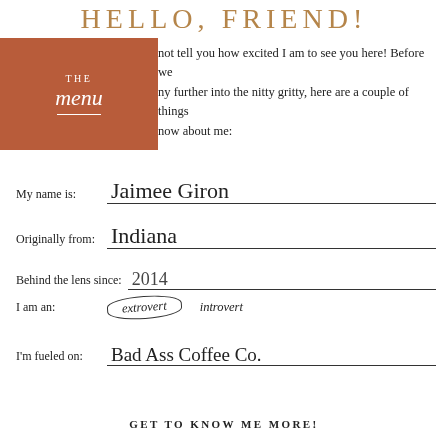HELLO, FRIEND!
I cannot tell you how excited I am to see you here! Before we dive any further into the nitty gritty, here are a couple of things you should know about me:
My name is: Jaimee Giron
Originally from: Indiana
Behind the lens since: 2014
I am an: extrovert  introvert
I'm fueled on: Bad Ass Coffee Co.
GET TO KNOW ME MORE!